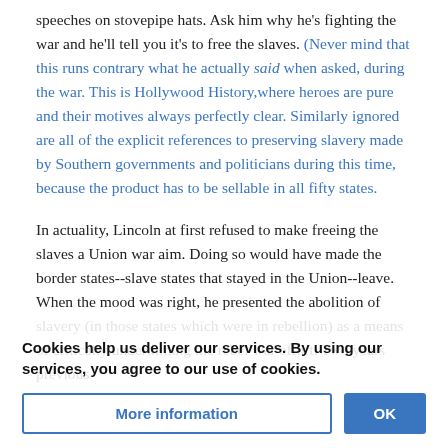speeches on stovepipe hats. Ask him why he's fighting the war and he'll tell you it's to free the slaves. (Never mind that this runs contrary what he actually said when asked, during the war. This is Hollywood History,where heroes are pure and their motives always perfectly clear. Similarly ignored are all of the explicit references to preserving slavery made by Southern governments and politicians during this time, because the product has to be sellable in all fifty states.
In actuality, Lincoln at first refused to make freeing the slaves a Union war aim. Doing so would have made the border states--slave states that stayed in the Union--leave. When the mood was right, he presented the abolition of slavery (in those states which were in rebellion) as a means of critically undermining the rebel war effort. Two years previous... attorney-general had
Cookies help us deliver our services. By using our services, you agree to our use of cookies.